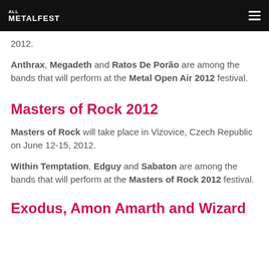METALFEST
2012.
Anthrax, Megadeth and Ratos De Porão are among the bands that will perform at the Metal Open Air 2012 festival.
Masters of Rock 2012
Masters of Rock will take place in Vizovice, Czech Republic on June 12-15, 2012.
Within Temptation, Edguy and Sabaton are among the bands that will perform at the Masters of Rock 2012 festival.
Exodus, Amon Amarth and Wizard